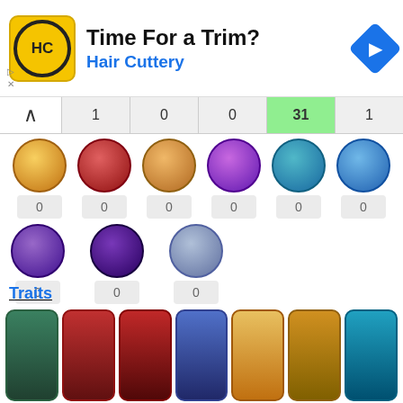[Figure (infographic): Hair Cuttery advertisement banner with yellow HC logo, text 'Time For a Trim? Hair Cuttery', and blue navigation arrow icon]
[Figure (infographic): Game UI tab bar with chevron up button and numbered tabs: 1, 0, 0, 31 (highlighted green), 1]
[Figure (infographic): Grid of 9 game hero icons, each with a count badge showing 0 below them]
Traits
[Figure (infographic): Row of 7 colorful vertical trait card illustrations from a game]